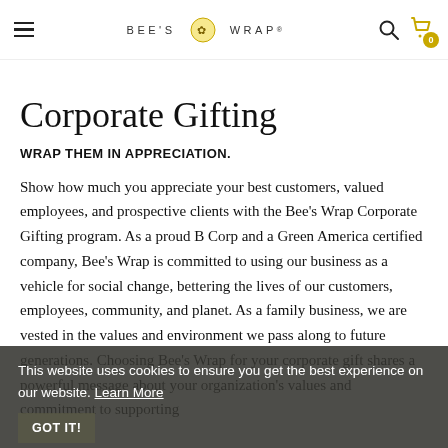BEE'S WRAP
Corporate Gifting
WRAP THEM IN APPRECIATION.
Show how much you appreciate your best customers, valued employees, and prospective clients with the Bee's Wrap Corporate Gifting program. As a proud B Corp and a Green America certified company, Bee's Wrap is committed to using our business as a vehicle for social change, bettering the lives of our customers, employees, community, and planet. As a family business, we are vested in the values and environment we pass along to future generations. Choosing Bee's Wrap for your corporate gift shares a powerful message about your organization's values and commitment to supporting
This website uses cookies to ensure you get the best experience on our website. Learn More GOT IT!